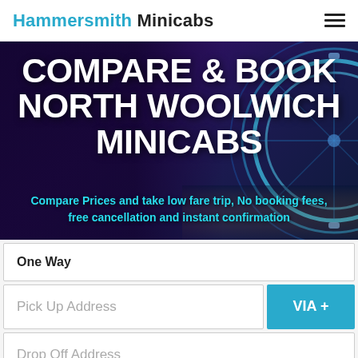Hammersmith Minicabs
[Figure (screenshot): Hero banner with dark purple background and blue illuminated Ferris wheel, showing large white bold text 'COMPARE & BOOK NORTH WOOLWICH MINICABS' and cyan subtitle 'Compare Prices and take low fare trip, No booking fees, free cancellation and instant confirmation']
COMPARE & BOOK NORTH WOOLWICH MINICABS
Compare Prices and take low fare trip, No booking fees, free cancellation and instant confirmation
One Way
Pick Up Address
VIA +
Drop Off Address